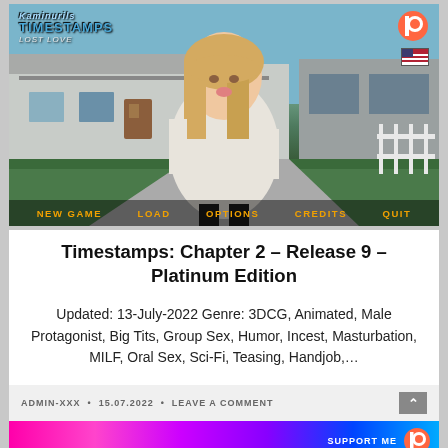[Figure (screenshot): Game screenshot showing a 3D animated blonde female character in a white sweater standing in front of a suburban house, with game title 'Timestamps Lost Love' in top left, Patreon logo top right, and menu bar at bottom with options: NEW GAME, LOAD, OPTIONS, CREDITS, QUIT]
Timestamps: Chapter 2 – Release 9 – Platinum Edition
Updated: 13-July-2022 Genre: 3DCG, Animated, Male Protagonist, Big Tits, Group Sex, Humor, Incest, Masturbation, MILF, Oral Sex, Sci-Fi, Teasing, Handjob,...
ADMIN-XXX • 15.07.2022 • LEAVE A COMMENT